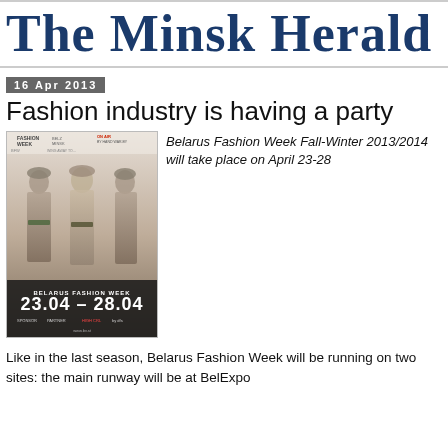The Minsk Herald
16 Apr 2013
Fashion industry is having a party
[Figure (photo): Belarus Fashion Week Fall-Winter 2013/2014 poster showing fashion models and dates 23.04 - 28.04]
Belarus Fashion Week Fall-Winter 2013/2014 will take place on April 23-28
Like in the last season, Belarus Fashion Week will be running on two sites: the main runway will be at BelExpo